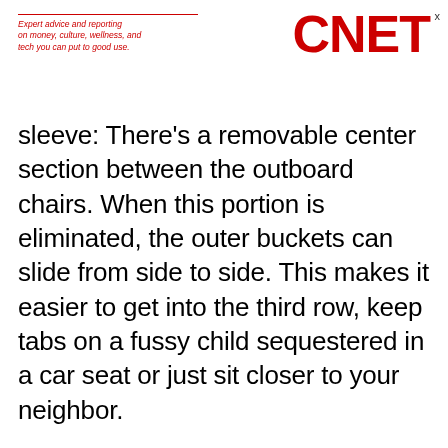Expert advice and reporting on money, culture, wellness, and tech you can put to good use. CNET
sleeve: There's a removable center section between the outboard chairs. When this portion is eliminated, the outer buckets can slide from side to side. This makes it easier to get into the third row, keep tabs on a fussy child sequestered in a car seat or just sit closer to your neighbor.
In a major coup for comfort, the third-row accommodations are actually adult-friendly. That back bench offers unexpected amounts of room for both knees and noggins, plus there are cup holders and even air vents for those passengers traveling in the economy-